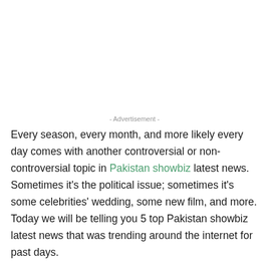- Advertisement -
Every season, every month, and more likely every day comes with another controversial or non-controversial topic in Pakistan showbiz latest news. Sometimes it's the political issue; sometimes it's some celebrities' wedding, some new film, and more. Today we will be telling you 5 top Pakistan showbiz latest news that was trending around the internet for past days.
Pakistan Showbiz Latest Trending